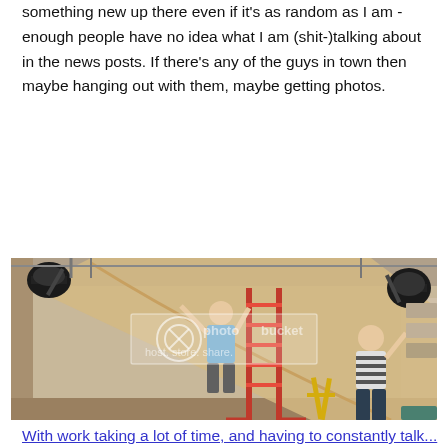something new up there even if it's as random as I am - enough people have no idea what I am (shit-)talking about in the news posts. If there's any of the guys in town then maybe hanging out with them, maybe getting photos.
[Figure (photo): Indoor photography studio setup. One person on a tall red ladder adjusting a large roll of brown paper backdrop attached to the ceiling, with black studio lights mounted on ceiling tracks on both left and right sides. A second person in a striped shirt stands on the right side holding part of the backdrop. Photobucket watermark visible in center. Yellow step ladder visible in background.]
With work taking a lot of time, and having to constantly talk...